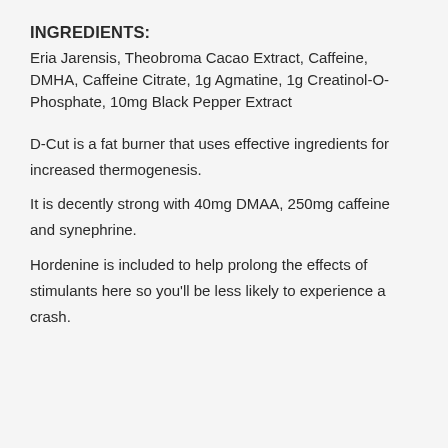INGREDIENTS:
Eria Jarensis, Theobroma Cacao Extract, Caffeine, DMHA, Caffeine Citrate, 1g Agmatine, 1g Creatinol-O-Phosphate, 10mg Black Pepper Extract
D-Cut is a fat burner that uses effective ingredients for increased thermogenesis.
It is decently strong with 40mg DMAA, 250mg caffeine and synephrine.
Hordenine is included to help prolong the effects of stimulants here so you'll be less likely to experience a crash.